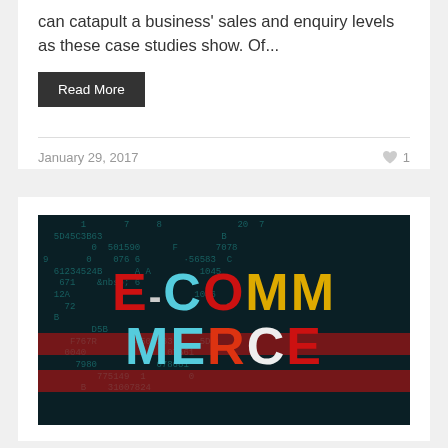can catapult a business' sales and enquiry levels as these case studies show. Of...
Read More
January 29, 2017
[Figure (photo): E-COMMERCE text displayed in large colorful letters (red, light blue, yellow) over a dark digital code background with numbers and letters]